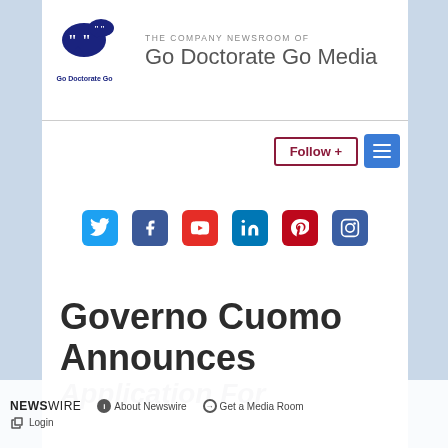[Figure (logo): Go Doctorate Go logo with speech bubble icons and text]
THE COMPANY NEWSROOM OF
Go Doctorate Go Media
Follow +
[Figure (infographic): Social media icons row: Twitter, Facebook, YouTube, LinkedIn, Pinterest, Instagram]
Governo Cuomo Announces Application For
NEWSWIRE  About Newswire  Get a Media Room  Login